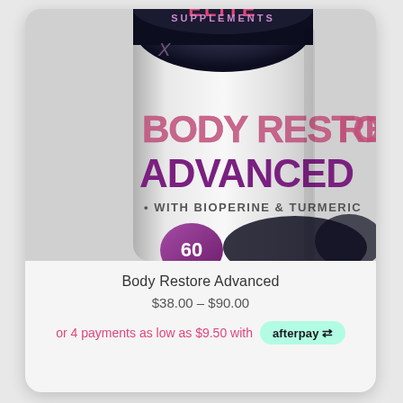[Figure (photo): Supplement product bottle labeled 'ELITE SUPPLEMENTS – BODY RESTORE ADVANCED – WITH BIOPERINE & TURMERIC – 60 capsules', dark bottle with pink/purple branding, partially cropped]
Body Restore Advanced
$38.00 – $90.00
or 4 payments as low as $9.50 with afterpay